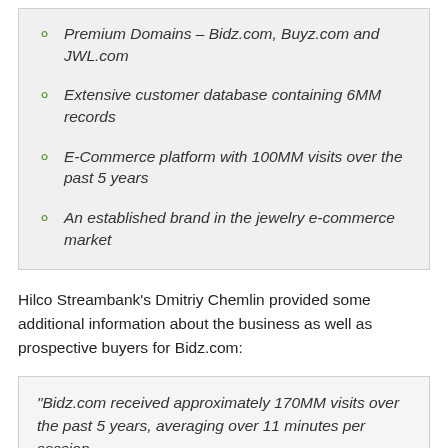Premium Domains – Bidz.com, Buyz.com and JWL.com
Extensive customer database containing 6MM records
E-Commerce platform with 100MM visits over the past 5 years
An established brand in the jewelry e-commerce market
Hilco Streambank's Dmitriy Chemlin provided some additional information about the business as well as prospective buyers for Bidz.com:
"Bidz.com received approximately 170MM visits over the past 5 years, averaging over 11 minutes per session.